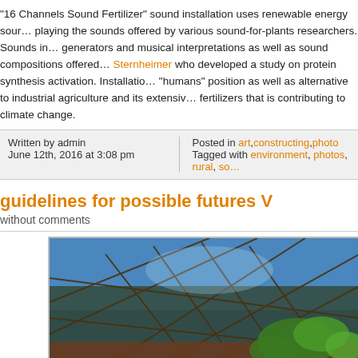"16 Channels Sound Fertilizer" sound installation uses renewable energy sources playing the sounds offered by various sound-for-plants researchers. Sounds include generators and musical interpretations as well as sound compositions offered by Sternheimer who developed a study on protein synthesis activation. Installation takes a "humans" position as well as alternative to industrial agriculture and its extensive use of fertilizers that is contributing to climate change.
Written by admin
June 12th, 2016 at 3:08 pm
Posted in art, constructing, photo
Tagged with environment, photos, rural, so...
guidelines for possible futures V
without comments
[Figure (photo): Photo of a geodesic dome structure made of metal rods against a blue sky, with green plants and soil in the foreground.]